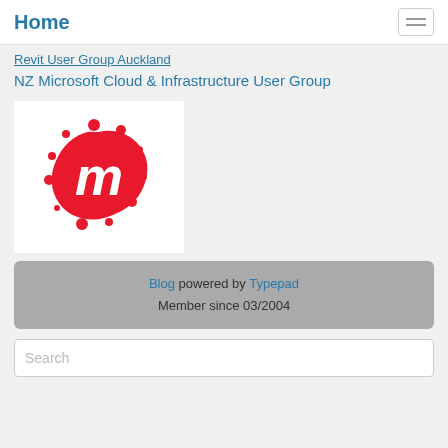Home
Revit User Group Auckland
NZ Microsoft Cloud & Infrastructure User Group
[Figure (logo): Meetup logo — red cloud/blob shape with white letter m, surrounded by red dots on a white background]
Blog powered by Typepad
Member since 03/2004
Search